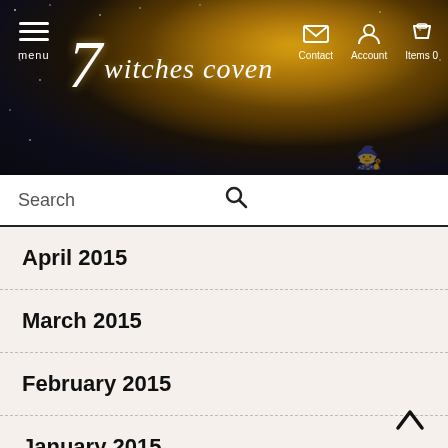[Figure (screenshot): 7 Witches Coven website header with dark night sky background, golden moon, site logo showing '7 witches coven' in stylized text, hamburger menu icon with 'menu' label, and header icons for Contact, Account, and Items 0]
Search
April 2015
March 2015
February 2015
January 2015
December 2014
November 2014
October 2014
September 2014